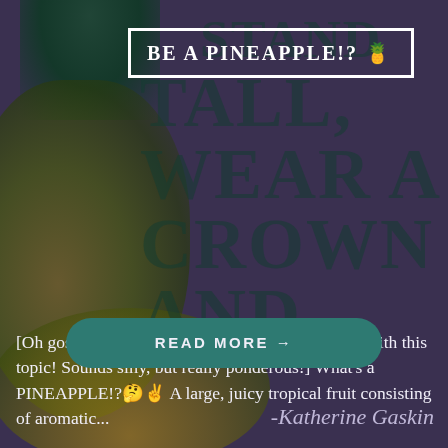BE A PINEAPPLE!? 🍍
[Oh gosh! I'm seriously beginning my blog series with this topic! Sounds silly, but really ponderous!] What's a PINEAPPLE!?🤔✌ A large, juicy tropical fruit consisting of aromatic...
READ MORE →
-Katherine Gaskin